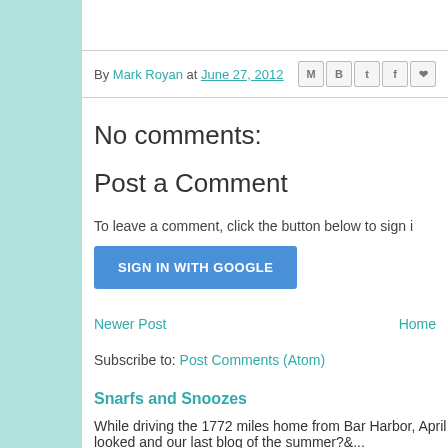By Mark Royan at June 27, 2012
No comments:
Post a Comment
To leave a comment, click the button below to sign i
SIGN IN WITH GOOGLE
Newer Post   Home
Subscribe to: Post Comments (Atom)
Snarfs and Snoozes
While driving the 1772 miles home from Bar Harbor, April looked and our last blog of the summer?&...